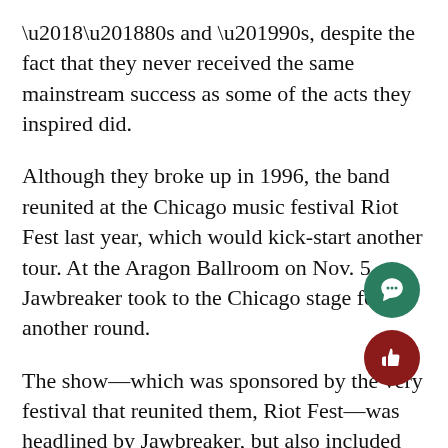‘80s and ’90s, despite the fact that they never received the same mainstream success as some of the acts they inspired did.
Although they broke up in 1996, the band reunited at the Chicago music festival Riot Fest last year, which would kick-start another tour. At the Aragon Ballroom on Nov. 5, Jawbreaker took to the Chicago stage for another round.
The show—which was sponsored by the very festival that reunited them, Riot Fest—was headlined by Jawbreaker, but also included the bands the Smoking Popes and Naked Raygun, both well-regarded Chicago punk bands.
Before delving into the Jawbreaker set, I want to touch on Naked Raygun’s performance, which I fo to be rather lackluster. The band’s lead singer, Jef